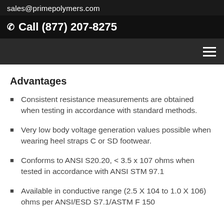sales@primepolymers.com
Call (877) 207-8275
Advantages
Consistent resistance measurements are obtained when testing in accordance with standard methods.
Very low body voltage generation values possible when wearing heel straps C or SD footwear.
Conforms to ANSI S20.20, < 3.5 x 107 ohms when tested in accordance with ANSI STM 97.1
Available in conductive range (2.5 X 104 to 1.0 X 106) ohms per ANSI/ESD S7.1/ASTM F 150